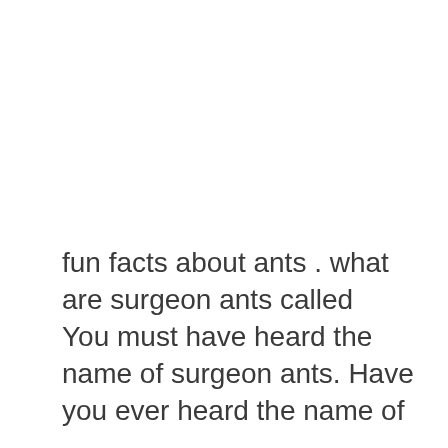fun facts about ants . what are surgeon ants called
You must have heard the name of surgeon ants. Have you ever heard the name of